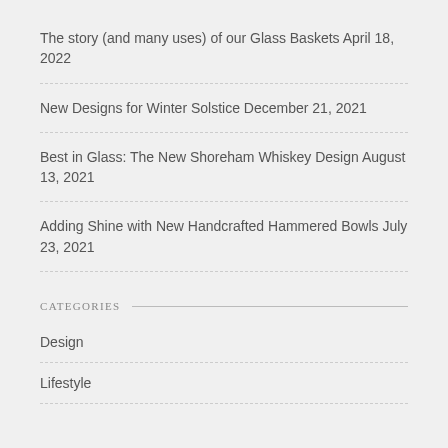The story (and many uses) of our Glass Baskets April 18, 2022
New Designs for Winter Solstice December 21, 2021
Best in Glass: The New Shoreham Whiskey Design August 13, 2021
Adding Shine with New Handcrafted Hammered Bowls July 23, 2021
CATEGORIES
Design
Lifestyle